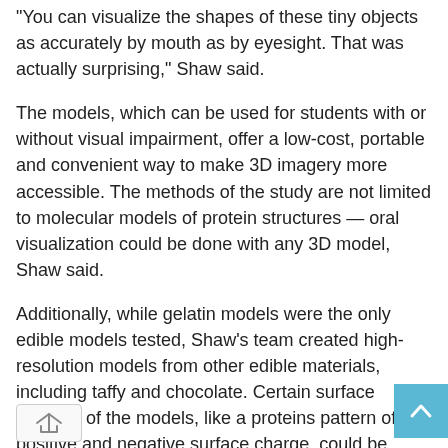“You can visualize the shapes of these tiny objects as accurately by mouth as by eyesight. That was actually surprising,” Shaw said.
The models, which can be used for students with or without visual impairment, offer a low-cost, portable and convenient way to make 3D imagery more accessible. The methods of the study are not limited to molecular models of protein structures — oral visualization could be done with any 3D model, Shaw said.
Additionally, while gelatin models were the only edible models tested, Shaw’s team created high-resolution models from other edible materials, including taffy and chocolate. Certain surface features of the models, like a proteins pattern of positive and negative surface charge, could be represented using different flavor patterns on the model.